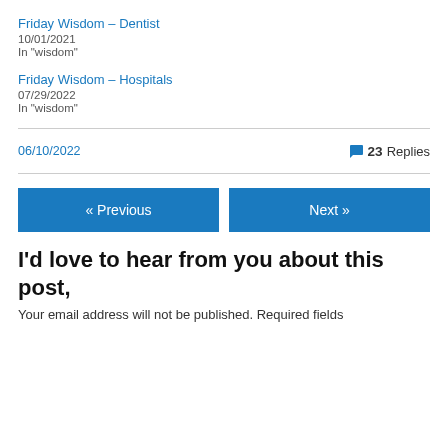Friday Wisdom – Dentist
10/01/2021
In "wisdom"
Friday Wisdom – Hospitals
07/29/2022
In "wisdom"
06/10/2022
💬 23 Replies
« Previous
Next »
I'd love to hear from you about this post,
Your email address will not be published. Required fields